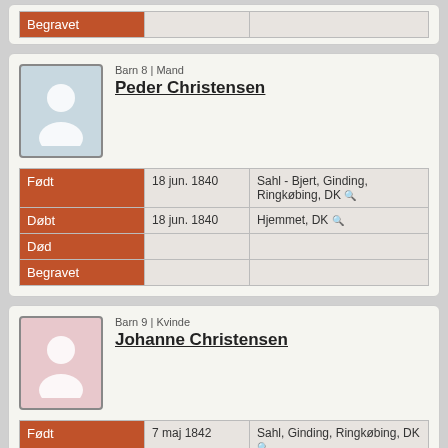|  |  |  |
| --- | --- | --- |
| Begravet |  |  |
Barn 8 | Mand
Peder Christensen
|  |  |  |
| --- | --- | --- |
| Født | 18 jun. 1840 | Sahl - Bjert, Ginding, Ringkøbing, DK |
| Døbt | 18 jun. 1840 | Hjemmet, DK |
| Død |  |  |
| Begravet |  |  |
Barn 9 | Kvinde
Johanne Christensen
|  |  |  |
| --- | --- | --- |
| Født | 7 maj 1842 | Sahl, Ginding, Ringkøbing, DK |